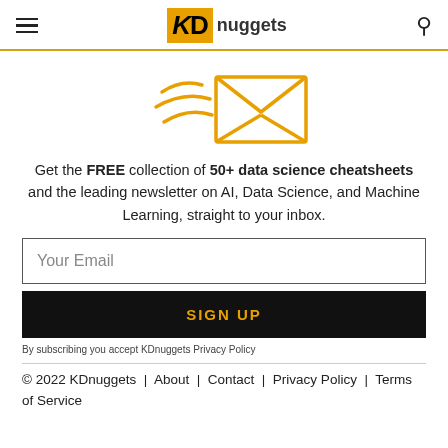KDnuggets
[Figure (illustration): Envelope with motion lines indicating email being sent, drawn in gold/yellow outline style]
Get the FREE collection of 50+ data science cheatsheets and the leading newsletter on AI, Data Science, and Machine Learning, straight to your inbox.
Your Email
SIGN UP
By subscribing you accept KDnuggets Privacy Policy
© 2022 KDnuggets | About | Contact | Privacy Policy | Terms of Service